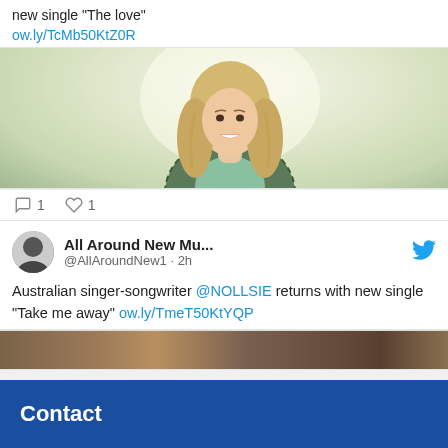new single “The love” ow.ly/TcMb50KtZ0R
[Figure (photo): Photo of a smiling woman with long blonde wavy hair, wearing a green plaid jacket over a light green top, standing against a light background]
1  1
All Around New Mu... @AllAroundNew1 · 2h
Australian singer-songwriter @NOLLSIE returns with new single “Take me away” ow.ly/TmeT50KtYQP
[Figure (photo): Partial photo visible at bottom, appears to be a wooden or natural texture background]
Contact